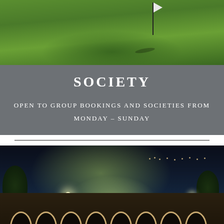[Figure (photo): Golf course green with a flag pole visible, lush green grass, daytime shot from above]
SOCIETY
OPEN TO GROUP BOOKINGS AND SOCIETIES FROM MONDAY – SUNDAY
[Figure (photo): Night-time aerial photograph of a golf club building with arched colonnade, illuminated green visible in background, lights glowing]